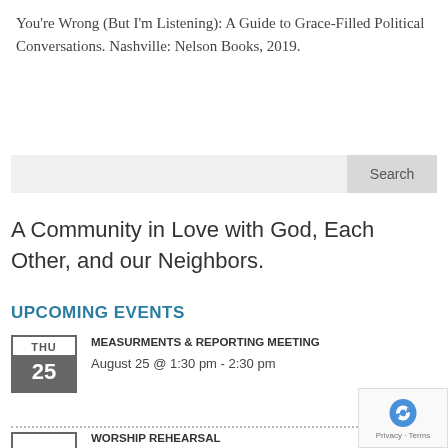You're Wrong (But I'm Listening): A Guide to Grace-Filled Political Conversations. Nashville: Nelson Books, 2019.
[Figure (other): Search bar with a text input area and a 'Search' button on the right]
A Community in Love with God, Each Other, and our Neighbors.
UPCOMING EVENTS
MEASURMENTS & REPORTING MEETING
August 25 @ 1:30 pm - 2:30 pm
WORSHIP REHEARSAL